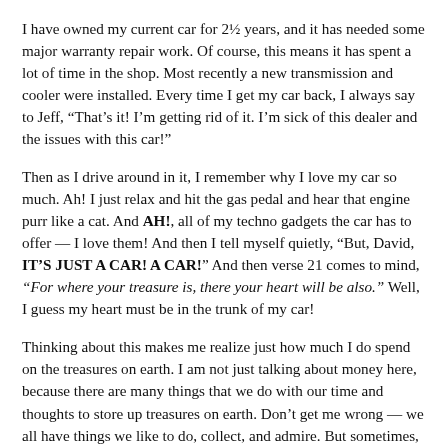I have owned my current car for 2½ years, and it has needed some major warranty repair work. Of course, this means it has spent a lot of time in the shop. Most recently a new transmission and cooler were installed. Every time I get my car back, I always say to Jeff, “That’s it! I’m getting rid of it. I’m sick of this dealer and the issues with this car!”
Then as I drive around in it, I remember why I love my car so much. Ah! I just relax and hit the gas pedal and hear that engine purr like a cat. And AH!, all of my techno gadgets the car has to offer — I love them! And then I tell myself quietly, “But, David, IT’S JUST A CAR! A CAR!” And then verse 21 comes to mind, “For where your treasure is, there your heart will be also.” Well, I guess my heart must be in the trunk of my car!
Thinking about this makes me realize just how much I do spend on the treasures on earth. I am not just talking about money here, because there are many things that we do with our time and thoughts to store up treasures on earth. Don’t get me wrong — we all have things we like to do, collect, and admire. But sometimes, and probably more often than we may realize, it can get a little out of hand.
Now that we are at a season of the year where many think about all of the holiday gifts dancing under Christmas trees and all that rich